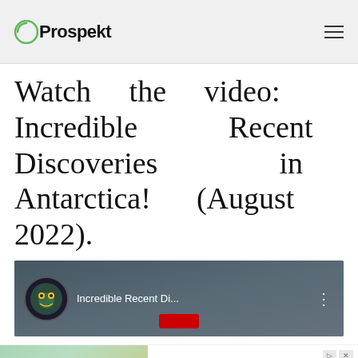Prospekt
Watch the video: Incredible Recent Discoveries in Antarctica! (August 2022).
[Figure (screenshot): YouTube video thumbnail showing 'Incredible Recent Di...' with a circular avatar icon on the left and a three-dot menu icon on the right, over an aerial/landscape background image with a red play button overlay.]
[Figure (illustration): Advertisement banner reading 'BUILD NUCLEAR NOW' on the left with a teal/sandy background, and 'Clean. Secure. Homegrown. Build Nuclear Now' on the right with ad badges.]